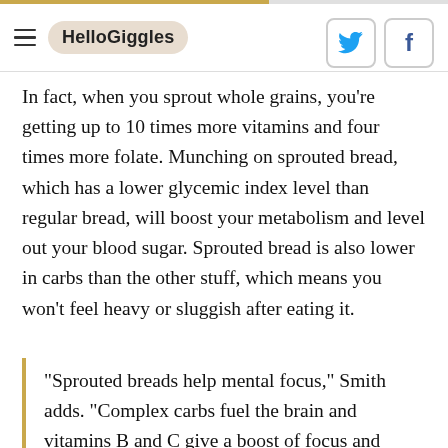HelloGiggles
In fact, when you sprout whole grains, you're getting up to 10 times more vitamins and four times more folate. Munching on sprouted bread, which has a lower glycemic index level than regular bread, will boost your metabolism and level out your blood sugar. Sprouted bread is also lower in carbs than the other stuff, which means you won't feel heavy or sluggish after eating it.
"Sprouted breads help mental focus," Smith adds. "Complex carbs fuel the brain and vitamins B and C give a boost of focus and